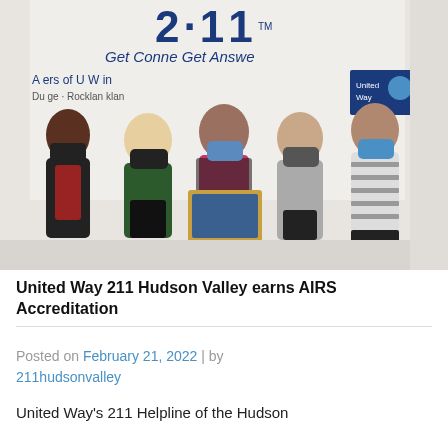[Figure (photo): Group photo of five women wearing face masks standing in front of a 211 United Way banner. The center person holds a framed award plaque. The banner reads '2-11 TM Get Connected Get Answers A service of United Way'.]
United Way 211 Hudson Valley earns AIRS Accreditation
Posted on February 21, 2022 | by 211hudsonvalley
United Way's 211 Helpline of the Hudson